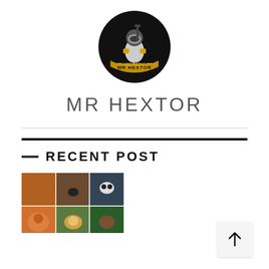[Figure (logo): Circular black logo with a PUBG-style armored character holding a weapon, gold/yellow accents, text 'BATTLE ROYALE MR HEXTOR' around the bottom arc in gold lettering]
MR HEXTOR
RECENT POST
[Figure (photo): Collage of animal-face print t-shirts showing a fox/dog, bear, panda, lion, and other animal faces on shirts]